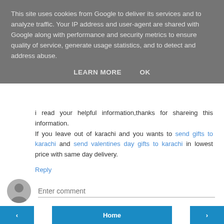This site uses cookies from Google to deliver its services and to analyze traffic. Your IP address and user-agent are shared with Google along with performance and security metrics to ensure quality of service, generate usage statistics, and to detect and address abuse.
LEARN MORE   OK
i read your helpful information,thanks for shareing this information.
If you leave out of karachi and you wants to send gifts to karachi and send valentines day gifts to karachi in lowest price with same day delivery.
Reply
Enter comment
Home